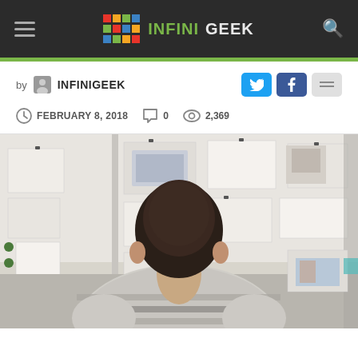INFINIGEEK
by INFINIGEEK
FEBRUARY 8, 2018   0   2,369
[Figure (photo): Person seen from behind looking at a wall covered with pinned papers, sketches, wireframes, and notes in a design/planning workspace]